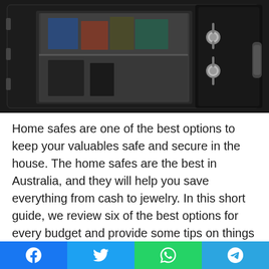[Figure (photo): An open black home safe with documents and items visible inside, showing two bolt handles on the door interior.]
Home safes are one of the best options to keep your valuables safe and secure in the house. The home safes are the best in Australia, and they will help you save everything from cash to jewelry. In this short guide, we review six of the best options for every budget and provide some tips on things to consider before making your purchase. Each safe includes in this article is for a specific purpose. In addition to this, some of them are better for storing important documents such as passports, and birth certificates, while others have been designed especially for storing precious jewelry. Here is a list